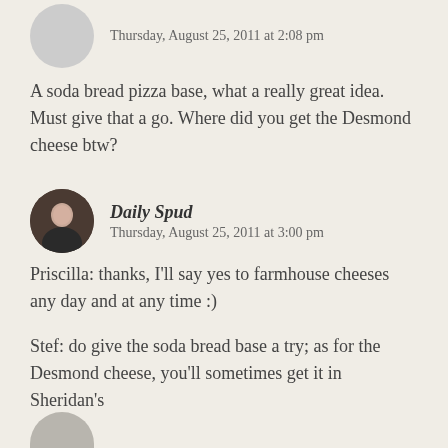Thursday, August 25, 2011 at 2:08 pm
A soda bread pizza base, what a really great idea. Must give that a go. Where did you get the Desmond cheese btw?
Daily Spud
Thursday, August 25, 2011 at 3:00 pm
Priscilla: thanks, I'll say yes to farmhouse cheeses any day and at any time :)
Stef: do give the soda bread base a try; as for the Desmond cheese, you'll sometimes get it in Sheridan's